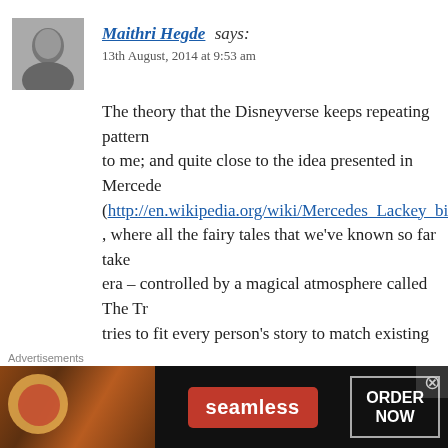Maithri Hegde says:
13th August, 2014 at 9:53 am
The theory that the Disneyverse keeps repeating patterns is very close to me; and quite close to the idea presented in Mercedes Lackey's books (http://en.wikipedia.org/wiki/Mercedes_Lackey_bibliography) , where all the fairy tales that we've known so far take place in the same era – controlled by a magical atmosphere called The Tradition, which tries to fit every person's story to match existing ones.
★ Like
Reply
everman says:
[Figure (infographic): Seamless food delivery advertisement banner with pizza image, Seamless red logo badge, and ORDER NOW button on dark background]